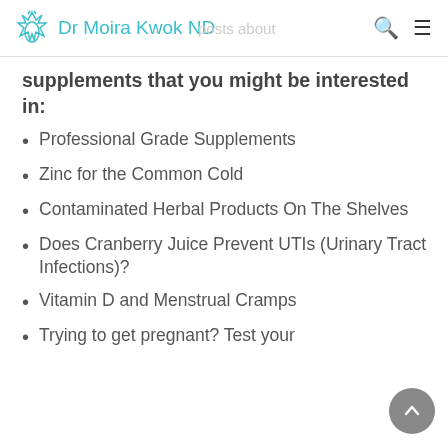Dr Moira Kwok ND
supplements that you might be interested in:
Professional Grade Supplements
Zinc for the Common Cold
Contaminated Herbal Products On The Shelves
Does Cranberry Juice Prevent UTIs (Urinary Tract Infections)?
Vitamin D and Menstrual Cramps
Trying to get pregnant? Test your ferritin levels!